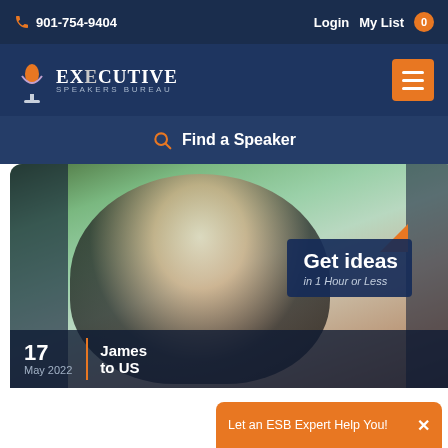901-754-9404  Login  My List 0
[Figure (logo): Executive Speakers Bureau logo with microphone icon, orange and white text on dark navy background]
Find a Speaker
[Figure (photo): Portrait photo of a man with dark hair wearing a black shirt, outdoor setting with stone wall. Overlay text: 'Get ideas in 1 Hour or Less'. Date shown: 17 May 2022. Event name: James ... to US]
Get ideas in 1 Hour or Less
17
May 2022
James
to US
Let an ESB Expert Help You!